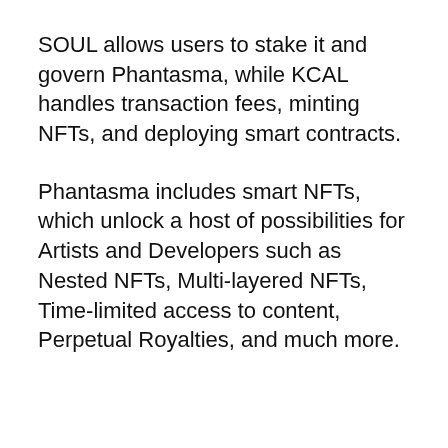SOUL allows users to stake it and govern Phantasma, while KCAL handles transaction fees, minting NFTs, and deploying smart contracts.
Phantasma includes smart NFTs, which unlock a host of possibilities for Artists and Developers such as Nested NFTs, Multi-layered NFTs, Time-limited access to content, Perpetual Royalties, and much more.